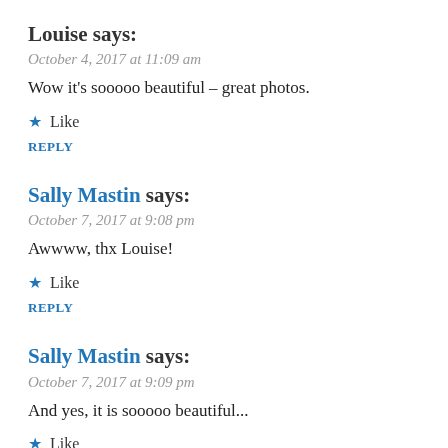Louise says:
October 4, 2017 at 11:09 am
Wow it's sooooo beautiful – great photos.
★ Like
REPLY
Sally Mastin says:
October 7, 2017 at 9:08 pm
Awwww, thx Louise!
★ Like
REPLY
Sally Mastin says:
October 7, 2017 at 9:09 pm
And yes, it is sooooo beautiful...
★ Like